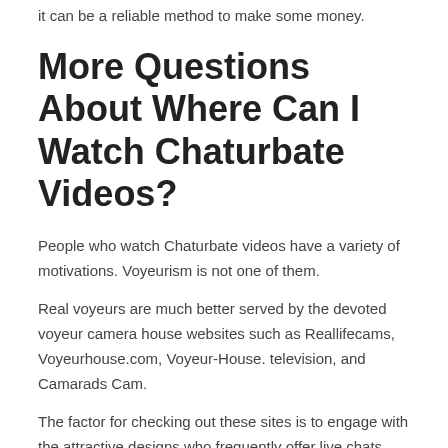it can be a reliable method to make some money.
More Questions About Where Can I Watch Chaturbate Videos?
People who watch Chaturbate videos have a variety of motivations. Voyeurism is not one of them.
Real voyeurs are much better served by the devoted voyeur camera house websites such as Reallifecams, Voyeurhouse.com, Voyeur-House. television, and Camarads Cam.
The factor for checking out these sites is to engage with the attractive designs who frequently offer live chats, picture shoots, and even sex.
The Internet of Things (IoT) is a term utilized to explain the next generation of linked gadgets such as home appliances, automobiles, drones, and fitness trackers.